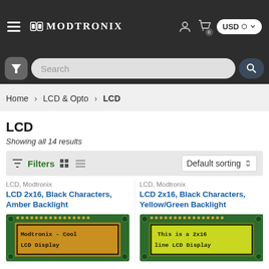MODTRONIX
[Figure (screenshot): Modtronix e-commerce website header with navigation bar showing hamburger menu, logo, user/cart icons, USD currency selector, search bar with filter button]
Home > LCD & Opto > LCD
LCD
Showing all 14 results
Filters  Default sorting
LCD, Modtronix
LCD 2x16, Black Characters, Amber Backlight
LCD, Modtronix
LCD 2x16, Black Characters, Yellow/Green Backlight
[Figure (photo): LCD module with amber backlight displaying 'Modtronix - Cool LCD Display']
[Figure (photo): LCD module with yellow/green backlight displaying 'This is a 2x16 line LCD Display']